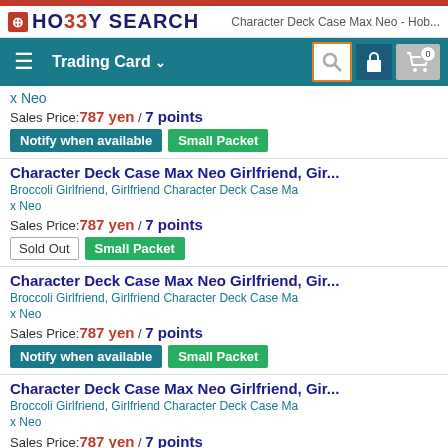HO33Y SEARCH
Character Deck Case Max Neo - Hob...
Trading Card
x Neo
Sales Price: 787 yen / 7 points
Notify when available  Small Packet
Character Deck Case Max Neo Girlfriend, Gir...
Broccoli Girlfriend, Girlfriend Character Deck Case Max Neo
Sales Price: 787 yen / 7 points
Sold Out  Small Packet
Character Deck Case Max Neo Girlfriend, Gir...
Broccoli Girlfriend, Girlfriend Character Deck Case Max Neo
Sales Price: 787 yen / 7 points
Notify when available  Small Packet
Character Deck Case Max Neo Girlfriend, Gir...
Broccoli Girlfriend, Girlfriend Character Deck Case Max Neo
Sales Price: 787 yen / 7 points
Sold Out  Small Packet
Character Deck Case Max Neo Re:Zero -Start... Broccoli Re:Zero -Starting Life in Another World- C